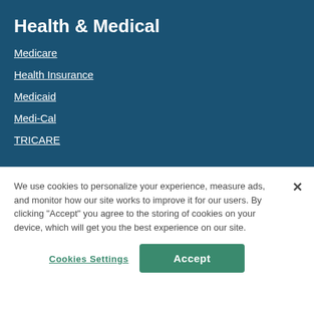Health & Medical
Medicare
Health Insurance
Medicaid
Medi-Cal
TRICARE
We use cookies to personalize your experience, measure ads, and monitor how our site works to improve it for our users. By clicking "Accept" you agree to the storing of cookies on your device, which will get you the best experience on our site.
Cookies Settings
Accept